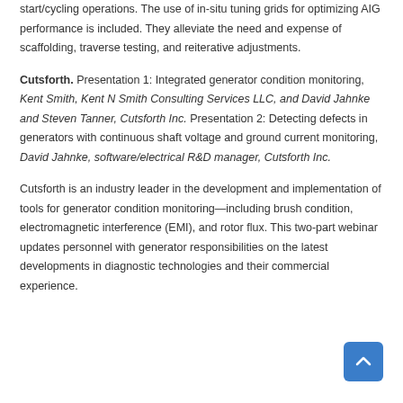start/cycling operations. The use of in-situ tuning grids for optimizing AIG performance is included. They alleviate the need and expense of scaffolding, traverse testing, and reiterative adjustments.
Cutsforth. Presentation 1: Integrated generator condition monitoring, Kent Smith, Kent N Smith Consulting Services LLC, and David Jahnke and Steven Tanner, Cutsforth Inc. Presentation 2: Detecting defects in generators with continuous shaft voltage and ground current monitoring, David Jahnke, software/electrical R&D manager, Cutsforth Inc.
Cutsforth is an industry leader in the development and implementation of tools for generator condition monitoring—including brush condition, electromagnetic interference (EMI), and rotor flux. This two-part webinar updates personnel with generator responsibilities on the latest developments in diagnostic technologies and their commercial experience.